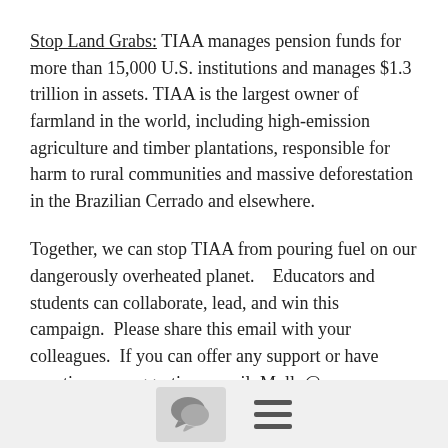Stop Land Grabs: TIAA manages pension funds for more than 15,000 U.S. institutions and manages $1.3 trillion in assets. TIAA is the largest owner of farmland in the world, including high-emission agriculture and timber plantations, responsible for harm to rural communities and massive deforestation in the Brazilian Cerrado and elsewhere.
Together, we can stop TIAA from pouring fuel on our dangerously overheated planet.   Educators and students can collaborate, lead, and win this campaign.  Please share this email with your colleagues.  If you can offer any support or have questions or suggestions email: Molly@....
Please amplify our message online, on Twitter, FB, IG and LinkedIn.
[Figure (other): Bottom navigation bar with a chat icon button and hamburger menu icon]